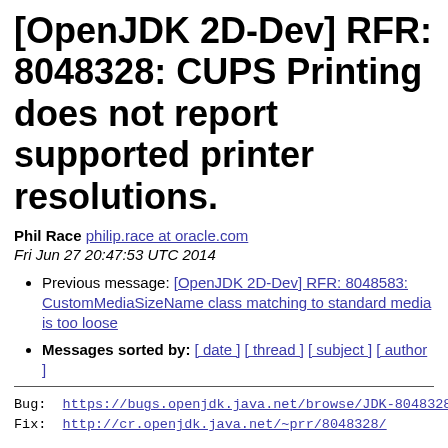[OpenJDK 2D-Dev] RFR: 8048328: CUPS Printing does not report supported printer resolutions.
Phil Race philip.race at oracle.com
Fri Jun 27 20:47:53 UTC 2014
Previous message: [OpenJDK 2D-Dev] RFR: 8048583: CustomMediaSizeName class matching to standard media is too loose
Messages sorted by: [ date ] [ thread ] [ subject ] [ author ]
Bug:  https://bugs.openjdk.java.net/browse/JDK-8048328
Fix:  http://cr.openjdk.java.net/~prr/8048328/
We have never supported returning the available printer r
for CUPS printing although it is available in the PPD.
With this fix, as long as any resolution is provided we w
the attribute supported and provide its default value and